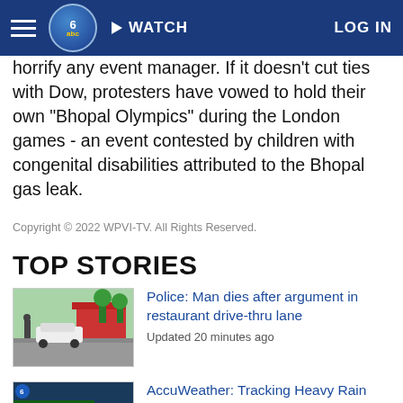WATCH | LOG IN
horrify any event manager. If it doesn't cut ties with Dow, protesters have vowed to hold their own "Bhopal Olympics" during the London games - an event contested by children with congenital disabilities attributed to the Bhopal gas leak.
Copyright © 2022 WPVI-TV. All Rights Reserved.
TOP STORIES
[Figure (photo): Outdoor parking lot scene with white car and red building in background]
Police: Man dies after argument in restaurant drive-thru lane
Updated 20 minutes ago
[Figure (screenshot): Weather forecast screen showing temperatures including 67, 68, 69, 70, 72, 67, 71, 69, 71 with a weather presenter visible]
AccuWeather: Tracking Heavy Rain Monday Night
Updated 7 minutes ago